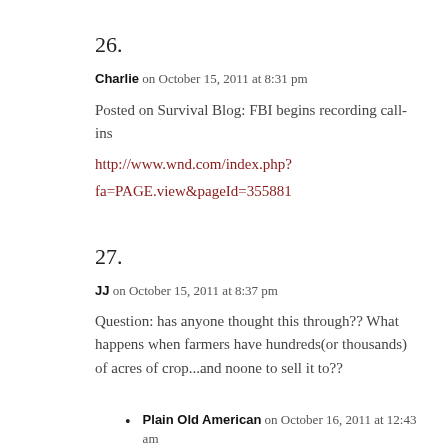26.
Charlie on October 15, 2011 at 8:31 pm
Posted on Survival Blog: FBI begins recording call-ins
http://www.wnd.com/index.php?fa=PAGE.view&pageId=355881
27.
JJ on October 15, 2011 at 8:37 pm
Question: has anyone thought this through?? What happens when farmers have hundreds(or thousands) of acres of crop...and noone to sell it to??
Plain Old American on October 16, 2011 at 12:43 am
Not really much to think thru.